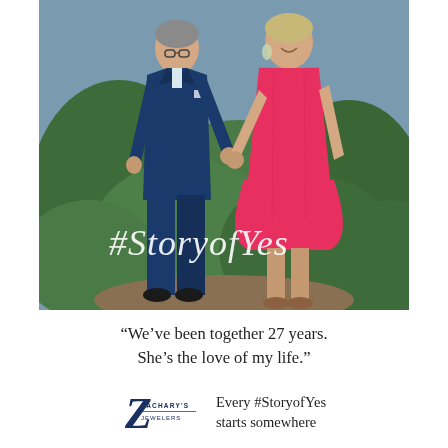[Figure (photo): A couple walking hand-in-hand outdoors among green bushes. The man is wearing a navy blue suit with glasses and a light blue tie. The woman is wearing a bright coral/red sleeveless lace dress and is smiling. The hashtag '#StoryofYes' is overlaid in white cursive script across the lower portion of the photo.]
“We’ve been together 27 years. She’s the love of my life.”
[Figure (logo): Zachary's Jewelers logo with a large decorative cursive Z and the text ZACHARY'S JEWELERS]
Every #StoryofYes starts somewhere